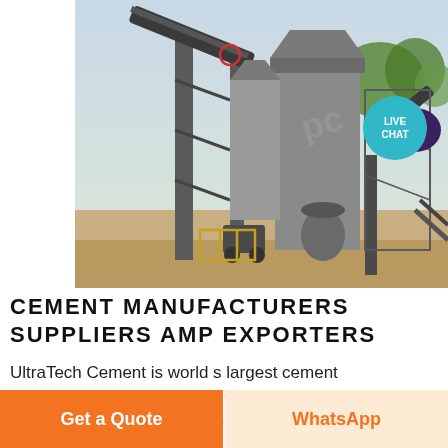[Figure (photo): Industrial cement plant machinery with conveyor belts, silos, and metal scaffolding on a sandy lot with trees in background]
[Figure (infographic): Live Chat badge: teal circle with speech bubble icon and text LIVE CHAT]
CEMENT MANUFACTURERS SUPPLIERS AMP EXPORTERS
UltraTech Cement is world s largest cement manufacturer amp exporter It has a white cement plant with a capacity of 0 56 MTPA manufacturer of
[Figure (other): Blue square button with white arrow icon pointing up-right]
Get a Quote
WhatsApp